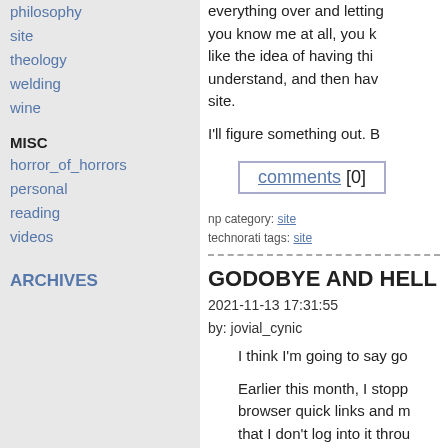philosophy
site
theology
welding
wine
MISC
horror_of_horrors
personal
reading
videos
ARCHIVES
everything over and letting you know me at all, you know I like the idea of having things understand, and then having site.
I'll figure something out. B
comments [0]
np category: site
technorati tags: site
GODOBYE AND HELL
2021-11-13 17:31:55
by: jovial_cynic
I think I'm going to say go
Earlier this month, I stopp browser quick links and m that I don't log into it throu my profile entirely. I never posted a photo of my kind. Twitter is starting to bore m think I'm just done.
And this means that I'll b